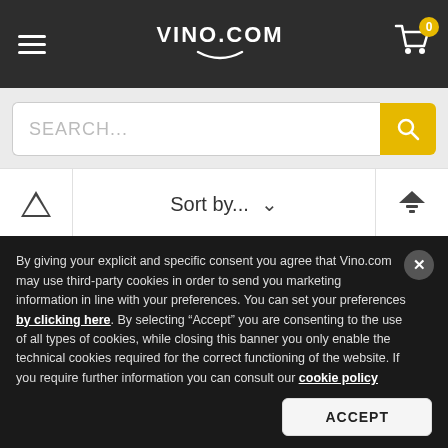VINO.COM
SEARCH...
Sort by...
1  ADD TO CART
By giving your explicit and specific consent you agree that Vino.com may use third-party cookies in order to send you marketing information in line with your preferences. You can set your preferences by clicking here. By selecting “Accept” you are consenting to the use of all types of cookies, while closing this banner you only enable the technical cookies required for the correct functioning of the website. If you require further information you can consult our cookie policy
ACCEPT